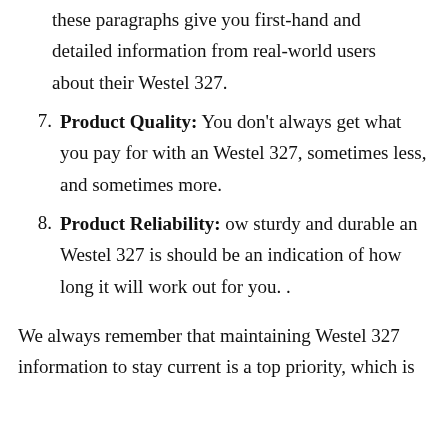these paragraphs give you first-hand and detailed information from real-world users about their Westel 327.
7. Product Quality: You don't always get what you pay for with an Westel 327, sometimes less, and sometimes more.
8. Product Reliability: ow sturdy and durable an Westel 327 is should be an indication of how long it will work out for you. .
We always remember that maintaining Westel 327 information to stay current is a top priority, which is